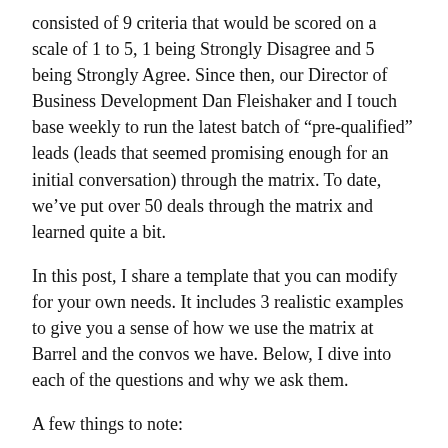consisted of 9 criteria that would be scored on a scale of 1 to 5, 1 being Strongly Disagree and 5 being Strongly Agree. Since then, our Director of Business Development Dan Fleishaker and I touch base weekly to run the latest batch of “pre-qualified” leads (leads that seemed promising enough for an initial conversation) through the matrix. To date, we’ve put over 50 deals through the matrix and learned quite a bit.
In this post, I share a template that you can modify for your own needs. It includes 3 realistic examples to give you a sense of how we use the matrix at Barrel and the convos we have. Below, I dive into each of the questions and why we ask them.
A few things to note:
I’ve cut the number of questions from 9 to 8